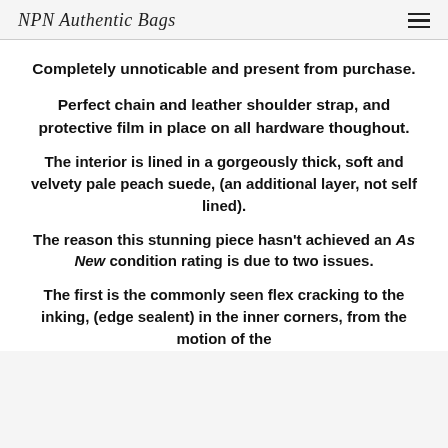NPN Authentic Bags
Completely unnoticable and present from purchase.
Perfect chain and leather shoulder strap, and protective film in place on all hardware thoughout.
The interior is lined in a gorgeously thick, soft and velvety pale peach suede, (an additional layer, not self lined).
The reason this stunning piece hasn't achieved an As New condition rating is due to two issues.
The first is the commonly seen flex cracking to the inking, (edge sealent) in the inner corners, from the motion of the